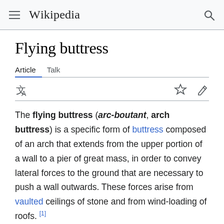Wikipedia
Flying buttress
Article   Talk
The flying buttress (arc-boutant, arch buttress) is a specific form of buttress composed of an arch that extends from the upper portion of a wall to a pier of great mass, in order to convey lateral forces to the ground that are necessary to push a wall outwards. These forces arise from vaulted ceilings of stone and from wind-loading of roofs. [1]
[Figure (photo): Partial photo of flying buttress stonework, teal/grey tones, bottom of page]